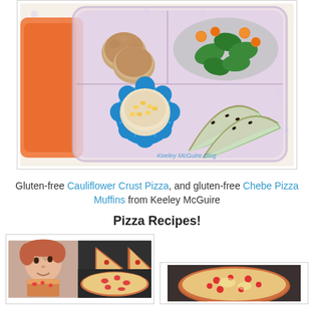[Figure (photo): Lunch box bento container with gluten-free pizza muffins (round brown muffins), spinach salad with orange cherry tomatoes, dip in a blue flower cup, and watermelon slices. Keeley McGuire Blog watermark.]
Gluten-free Cauliflower Crust Pizza, and gluten-free Chebe Pizza Muffins from Keeley McGuire
Pizza Recipes!
[Figure (photo): Collage showing a child eating pizza and cauliflower crust pizza slices]
[Figure (photo): Pizza with toppings, partially visible]